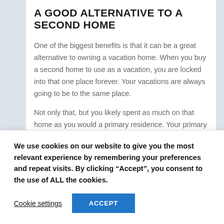A GOOD ALTERNATIVE TO A SECOND HOME
One of the biggest benefits is that it can be a great alternative to owning a vacation home. When you buy a second home to use as a vacation, you are locked into that one place forever. Your vacations are always going to be to the same place.
Not only that, but you likely spent as much on that home as you would a primary residence. Your primary residence is used year round so worth the
We use cookies on our website to give you the most relevant experience by remembering your preferences and repeat visits. By clicking “Accept”, you consent to the use of ALL the cookies.